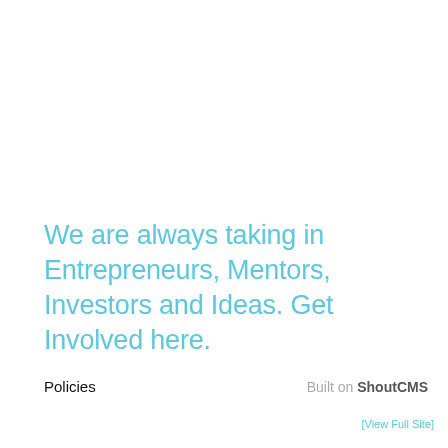We are always taking in Entrepreneurs, Mentors, Investors and Ideas. Get Involved here.
Policies    Built on ShoutCMS
[View Full Site]